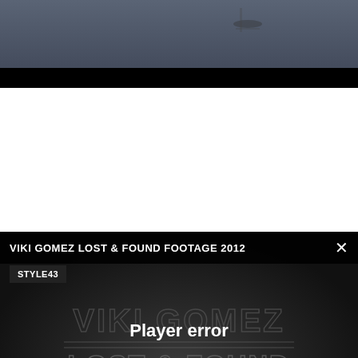[Figure (screenshot): Top portion of a video screenshot showing a dark bluish-grey background, partial view of a BMX bike/rider, cropped at top.]
[Figure (screenshot): Video player panel with dark background showing 'VIKI GOMEZ LOST & FOUND FOOTAGE' watermark text and Madrid 2012 label. Overlaid with a player error message: 'Player error — The player is having trouble. We'll have it back up and running as soon as possible.' Header reads 'VIKI GOMEZ LOST & FOUND FOOTAGE 2012' with close X button and STYLE43 tag.]